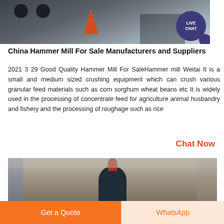[Figure (photo): Industrial hammer mill equipment in a factory setting, showing large dark metal machinery with circular openings and an orange traffic cone visible in the foreground.]
China Hammer Mill For Sale Manufacturers and Suppliers
2021 3 29 Good Quality Hammer Mill For SaleHammer mill Weitai It is a small and medium sized crushing equipment which can crush various granular feed materials such as corn sorghum wheat beans etc It is widely used in the processing of concentrate feed for agriculture animal husbandry and fishery and the processing of roughage such as rice
Chat Now
[Figure (photo): Interior of an industrial facility showing a large dark blue/black conical or cylindrical machine with a red element on top, set in a warehouse with metal roof structure visible.]